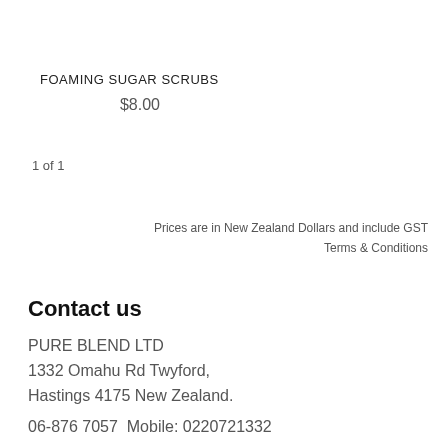FOAMING SUGAR SCRUBS
$8.00
1 of 1
Prices are in New Zealand Dollars and include GST
Terms & Conditions
Contact us
PURE BLEND LTD
1332 Omahu Rd Twyford,
Hastings 4175 New Zealand.
06-876 7057  Mobile: 0220721332